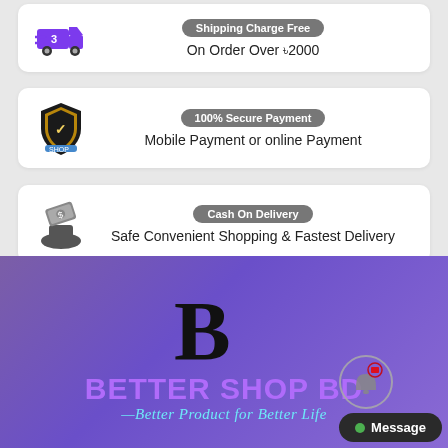Shipping Charge Free — On Order Over ৳2000
100% Secure Payment — Mobile Payment or online Payment
Cash On Delivery — Safe Convenient Shopping & Fastest Delivery
[Figure (logo): Better Shop BD brand logo — large stylized B letter in black, brand name in purple, tagline in cyan italic]
BETTER SHOP BD
—Better Product for Better Life